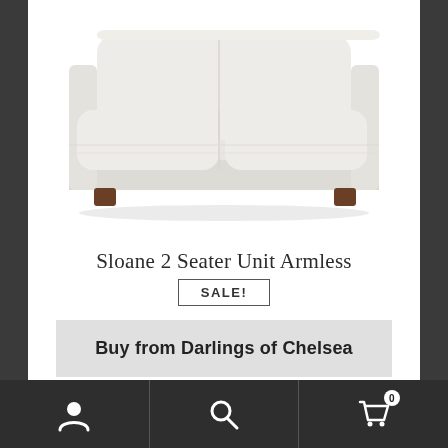[Figure (photo): A light grey/cream upholstered 2-seater sofa with rounded cushions and dark wooden legs, photographed on a white background. The image is cropped showing the front and slightly angled view, cutting off the top of the back cushions.]
Sloane 2 Seater Unit Armless
SALE!
Buy from Darlings of Chelsea